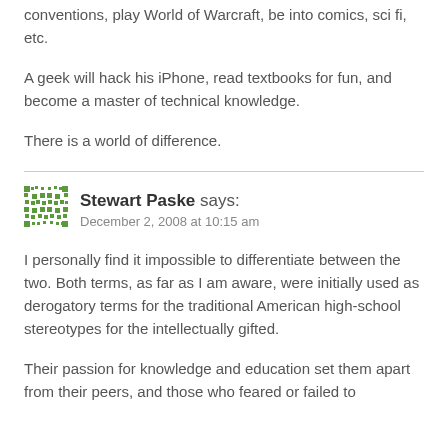conventions, play World of Warcraft, be into comics, sci fi, etc.
A geek will hack his iPhone, read textbooks for fun, and become a master of technical knowledge.
There is a world of difference.
Stewart Paske says: December 2, 2008 at 10:15 am
I personally find it impossible to differentiate between the two. Both terms, as far as I am aware, were initially used as derogatory terms for the traditional American high-school stereotypes for the intellectually gifted.
Their passion for knowledge and education set them apart from their peers, and those who feared or failed to